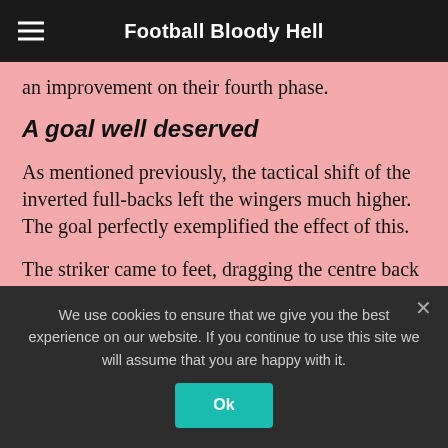Football Bloody Hell
an improvement on their fourth phase.
A goal well deserved
As mentioned previously, the tactical shift of the inverted full-backs left the wingers much higher. The goal perfectly exemplified the effect of this.
The striker came to feet, dragging the centre back with him. Due to the higher winger positioning, he could exploit the space left by the centre back. A
We use cookies to ensure that we give you the best experience on our website. If you continue to use this site we will assume that you are happy with it.